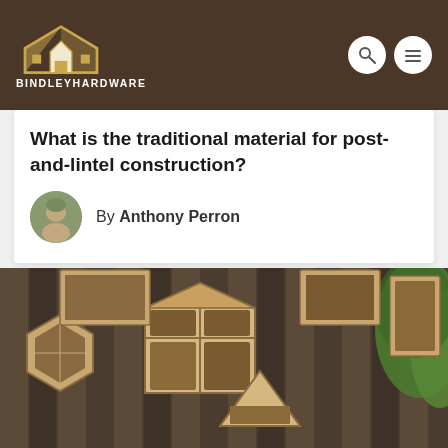BINDLEYHARDWARE
What is the traditional material for post-and-lintel construction?
By Anthony Perron
[Figure (photo): Wooden fence with multiple insect hotels and bee houses of various shapes attached to it, with green foliage visible on the right side.]